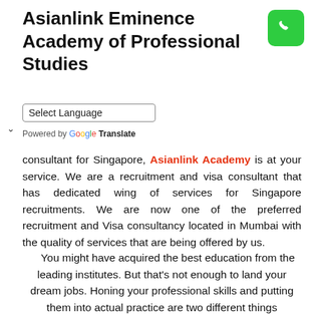Asianlink Eminence Academy of Professional Studies
[Figure (other): Green phone icon button in top right corner]
Select Language (dropdown)
Powered by Google Translate
consultant for Singapore, Asianlink Academy is at your service. We are a recruitment and visa consultant that has dedicated wing of services for Singapore recruitments. We are now one of the preferred recruitment and Visa consultancy located in Mumbai with the quality of services that are being offered by us.
You might have acquired the best education from the leading institutes. But that's not enough to land your dream jobs. Honing your professional skills and putting them into actual practice are two different things altogether. You require finding the dream job for optimum satisfaction and effective implementation of skills. And that's exactly where our company Asianlink Academy seem to be of